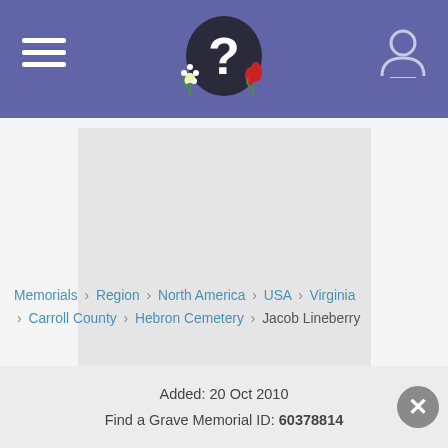Find a Grave — navigation header with logo and hamburger menu
[Figure (photo): Gray placeholder image area for a memorial photo]
Memorials › Region › North America › USA › Virginia › Carroll County › Hebron Cemetery › Jacob Lineberry
Created by: Beth Robinette
Added: 20 Oct 2010
Find a Grave Memorial ID: 60378814